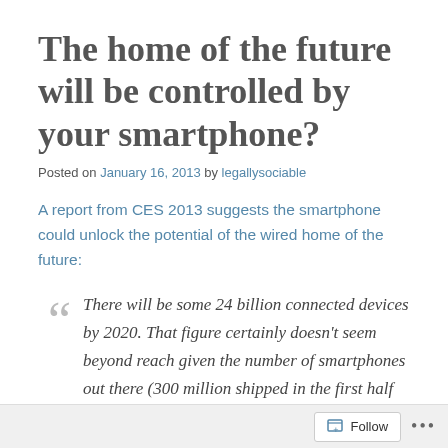The home of the future will be controlled by your smartphone?
Posted on January 16, 2013 by legallysociable
A report from CES 2013 suggests the smartphone could unlock the potential of the wired home of the future:
There will be some 24 billion connected devices by 2020. That figure certainly doesn't seem beyond reach given the number of smartphones out there (300 million shipped in the first half of 2012...